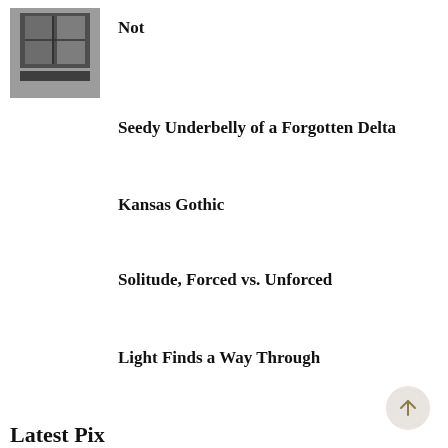[Figure (photo): Small black and white thumbnail photograph showing a window or building interior scene]
Not
Seedy Underbelly of a Forgotten Delta
Kansas Gothic
Solitude, Forced vs. Unforced
Light Finds a Way Through
Latest Pix